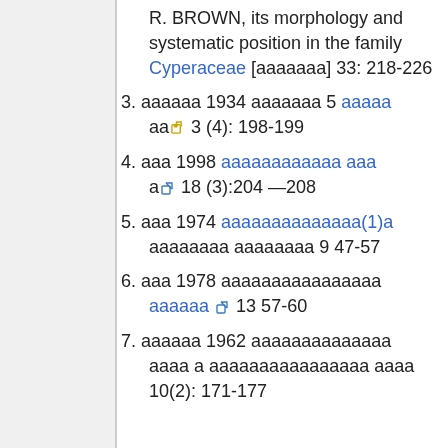R. BROWN, its morphology and systematic position in the family Cyperaceae [ааааааа] 33: 218-226
3. аааааа 1934 ааааааа 5 аааааааа 🔒 3 (4): 198-199
4. ааа 1998 аааааааааааа аааа 🔗 18 (3):204 —208
5. ааа 1974 аааааааааааааа(1)а аааааааа аааааааа 9 47-57
6. ааа 1978 аааааааааааааааа аааааааа 🔗 13 57-60
7. аааааа 1962 аааааааааааааа аааа а аааааааааааааааа аааа 10(2): 171-177